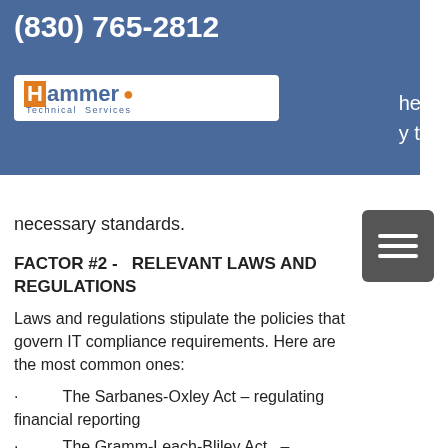(830) 765-2812
[Figure (logo): Hammer Technical Services logo with orange H block and blue text]
necessary standards.
FACTOR #2 -   RELEVANT LAWS AND REGULATIONS
Laws and regulations stipulate the policies that govern IT compliance requirements. Here are the most common ones:
·           The Sarbanes-Oxley Act – regulating financial reporting
·           The Gramm-Leach-Bliley Act   – governing non-public personal information and financial data
·           The Health Insurance and Accountability ACT – regulating health